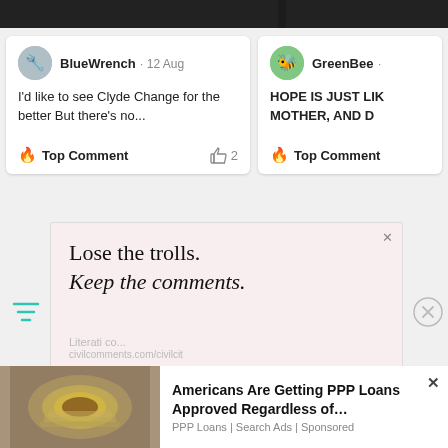[Figure (screenshot): Top dark bar strip across page]
BlueWrench · 12 Aug
I'd like to see Clyde Change for the better But there's no...
🔥 Top Comment   👍 2
GreenBee ·
HOPE IS JUST LIK MOTHER, AND D
🔥 Top Comment
[Figure (screenshot): Advertisement: Lose the trolls. Keep the comments.]
[Figure (screenshot): Bottom ad: Americans Are Getting PPP Loans Approved Regardless of... PPP Loans | Search Ads | Sponsored]